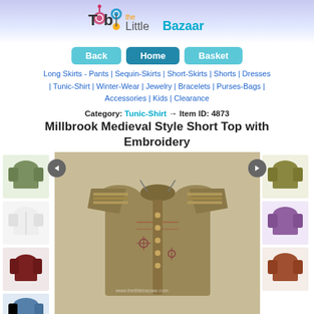[Figure (logo): The Little Bazaar logo with colorful dot accents]
Back | Home | Basket
Long Skirts - Pants | Sequin-Skirts | Short-Skirts | Shorts | Dresses | Tunic-Shirt | Winter-Wear | Jewelry | Bracelets | Purses-Bags | Accessories | Kids | Clearance
Category: Tunic-Shirt → Item ID: 4873
Millbrook Medieval Style Short Top with Embroidery
[Figure (photo): Main product photo: brown/olive medieval style short top with embroidery and button details, shown flat. Surrounding thumbnail images show the same top in green, white, maroon, blue (left side) and olive, purple, brown (right side) color variants.]